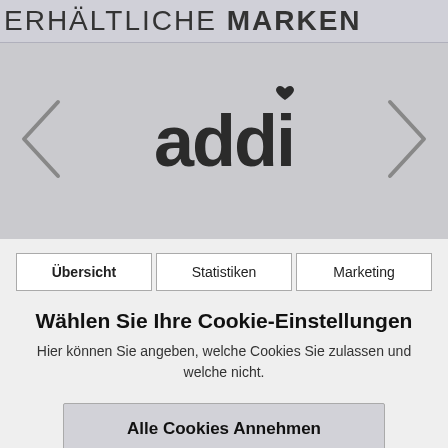ERHÄLTLICHE MARKEN
[Figure (logo): addi brand logo with a heart above the letter i, displayed in a grey carousel area with left and right navigation arrows]
Übersicht  Statistiken  Marketing
Wählen Sie Ihre Cookie-Einstellungen
Hier können Sie angeben, welche Cookies Sie zulassen und welche nicht.
Alle Cookies Annehmen